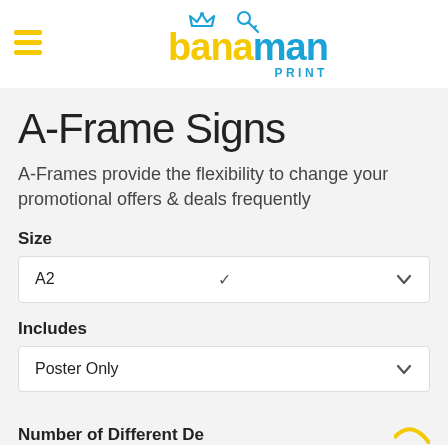banaman PRINT
A-Frame Signs
A-Frames provide the flexibility to change your promotional offers & deals frequently
Size
A2
Includes
Poster Only
Number of Different Designs